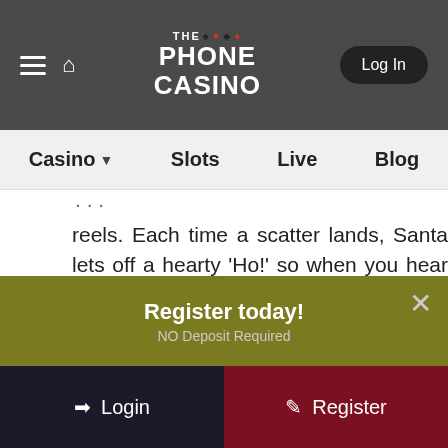THE PHONE CASINO — Log In
Casino  Slots  Live  Blog
reels. Each time a scatter lands, Santa lets off a hearty 'Ho!' so when you hear a trio of 'Hoes', you know the bonus is about to begin. Before it does, 9 boxes pop up on the screen - 5 containing spins, 4 possessing wild stack heights. Players click one of each to win 6, 8, 10, 12, 16, or 20 free spins, and 3, 4, 6, or 8 for the height of Rudolph Wild stacks. In free spins, Rudolph Wilds continue to trigger Rudolph
Register today!
NO Deposit Required
Login
Register